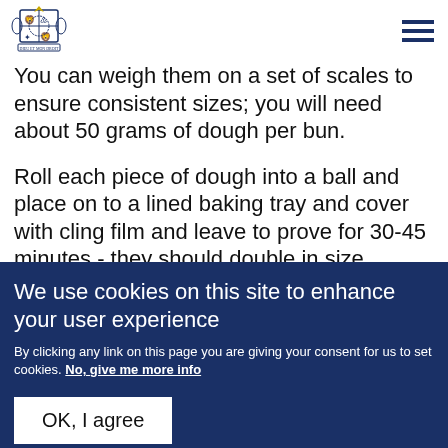[Figure (logo): UK Government Royal Coat of Arms crest logo]
You can weigh them on a set of scales to ensure consistent sizes; you will need about 50 grams of dough per bun.
Roll each piece of dough into a ball and place on to a lined baking tray and cover with cling film and leave to prove for 30-45 minutes - they should double in size.
We use cookies on this site to enhance your user experience
By clicking any link on this page you are giving your consent for us to set cookies. No, give me more info
OK, I agree